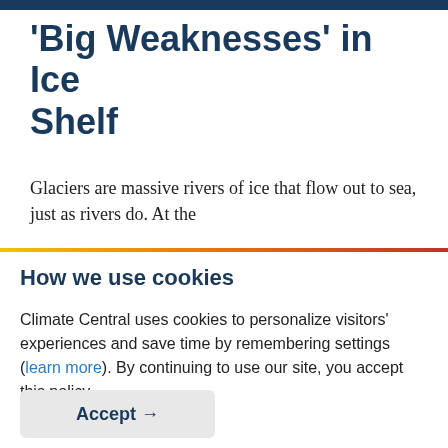'Big Weaknesses' in Ice Shelf
Glaciers are massive rivers of ice that flow out to sea, just as rivers do. At the
How we use cookies
Climate Central uses cookies to personalize visitors' experiences and save time by remembering settings (learn more). By continuing to use our site, you accept this policy.
Accept →